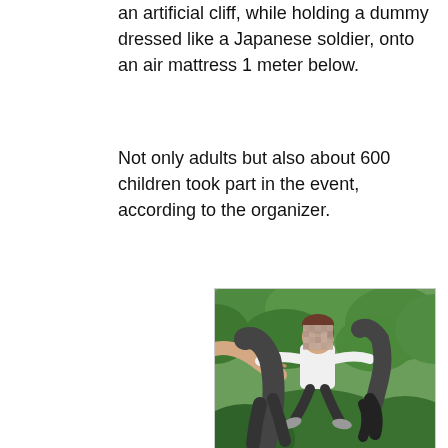an artificial cliff, while holding a dummy dressed like a Japanese soldier, onto an air mattress 1 meter below.
Not only adults but also about 600 children took part in the event, according to the organizer.
[Figure (photo): A child in a white shirt with arms outstretched is mid-air or jumping, appearing to be held or tossed by an adult. Another figure in dark clothing is visible. Green trees are in the background. The child's face is pixelated/blurred.]